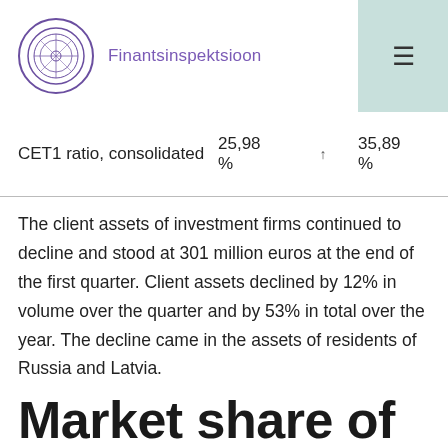Finantsinspektsioon
|  |  |  |  |
| --- | --- | --- | --- |
| CET1 ratio, consolidated | 25,98 % | ↑ | 35,89 % |
The client assets of investment firms continued to decline and stood at 301 million euros at the end of the first quarter. Client assets declined by 12% in volume over the quarter and by 53% in total over the year. The decline came in the assets of residents of Russia and Latvia.
Market share of